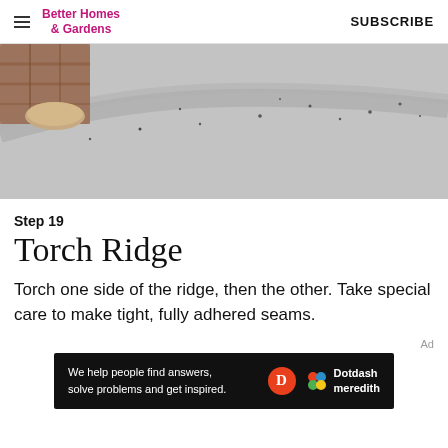Better Homes & Gardens  SUBSCRIBE
[Figure (photo): Close-up photo of a person in a plaid shirt pressing down on a gray granulated roofing surface, applying roofing material along a ridge.]
Step 19
Torch Ridge
Torch one side of the ridge, then the other. Take special care to make tight, fully adhered seams.
[Figure (other): Dotdash Meredith advertisement banner: 'We help people find answers, solve problems and get inspired.']